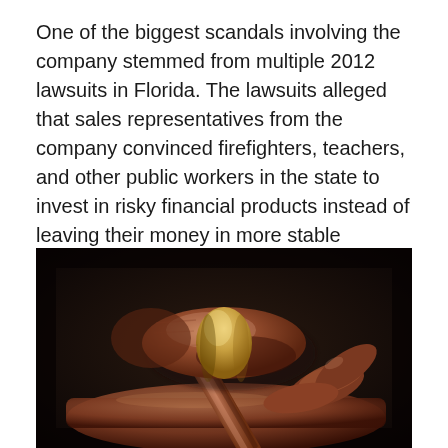One of the biggest scandals involving the company stemmed from multiple 2012 lawsuits in Florida. The lawsuits alleged that sales representatives from the company convinced firefighters, teachers, and other public workers in the state to invest in risky financial products instead of leaving their money in more stable investments that were secured through the government. The company ended up settling the lawsuits in 2014 for $15.4 million.
[Figure (photo): Close-up photograph of a wooden judge's gavel resting on its sound block, dark moody background with warm brown tones.]